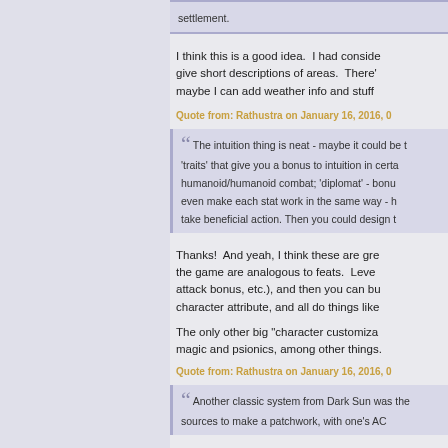settlement.
I think this is a good idea.  I had considered give short descriptions of areas.  There' maybe I can add weather info and stuff
Quote from: Rathustra on January 16, 2016, 0
The intuition thing is neat - maybe it could be t 'traits' that give you a bonus to intuition in certa humanoid/humanoid combat; 'diplomat' - bonu even make each stat work in the same way - h take beneficial action. Then you could design t
Thanks!  And yeah, I think these are gre the game are analogous to feats.  Leve attack bonus, etc.), and then you can bu character attribute, and all do things like
The only classic big "character customiza magic and psionics, among other things.
Quote from: Rathustra on January 16, 2016, 0
Another classic system from Dark Sun was the sources to make a patchwork, with one's AC